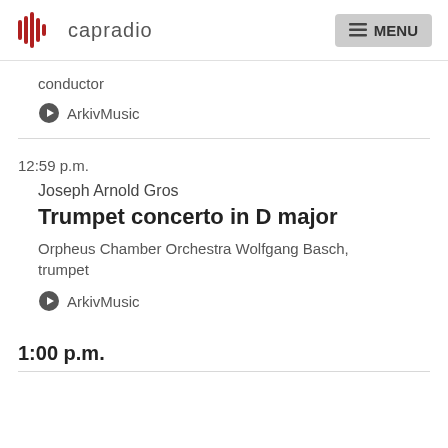capradio | MENU
conductor
ArkivMusic
12:59 p.m.
Joseph Arnold Gros
Trumpet concerto in D major
Orpheus Chamber Orchestra Wolfgang Basch, trumpet
ArkivMusic
1:00 p.m.